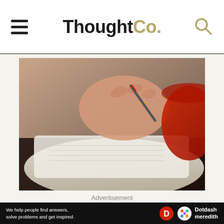ThoughtCo.
[Figure (photo): Close-up of a person's hand writing in a notebook with a pen, with a red mug visible in the background.]
Advertisement
[Figure (infographic): Black advertisement banner with dark red polka dot background pattern and bold white text reading: We help people find answers, solve problems and get inspired. (with a red period)]
[Figure (infographic): Bottom bar: We help people find answers, solve problems and get inspired. with Dotdash Meredith logo icons]